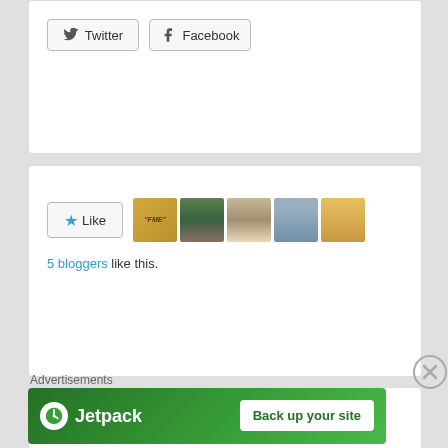[Figure (screenshot): Social share buttons: Twitter and Facebook]
[Figure (screenshot): Like button with star icon and 5 blogger avatars, text '5 bloggers like this.']
Related
[Figure (photo): Portrait photo of a woman with traditional Indian makeup and jewelry]
Aunt Jennifer's Tigers – Summary and Explanation
Advertisements
[Figure (infographic): Jetpack advertisement banner with 'Back up your site' call-to-action button]